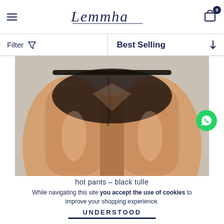Lemmha — navigation header with hamburger menu, logo, and cart icon (0 items)
Filter  ▼  |  Best Selling  ↓
[Figure (photo): Close-up rear view of a person wearing black tulle hot pants lingerie, showing thighs and buttocks against a neutral background]
hot pants – black tulle
While navigating this site you accept the use of cookies to improve your shopping experience.
UNDERSTOOD